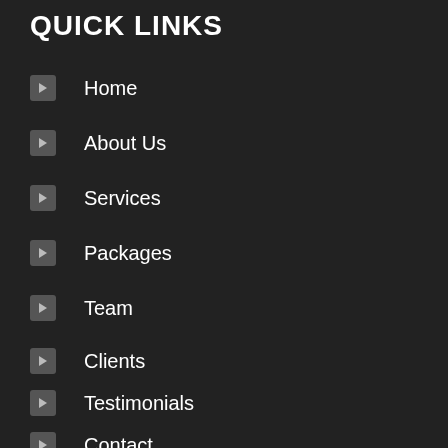QUICK LINKS
Home
About Us
Services
Packages
Team
Clients
Testimonials
Contact
Blog